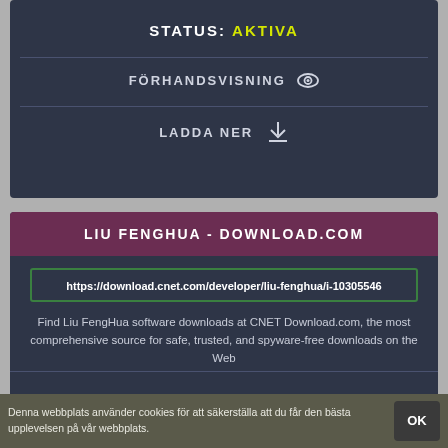STATUS: AKTIVA
FÖRHANDSVISNING
LADDA NER
LIU FENGHUA - DOWNLOAD.COM
https://download.cnet.com/developer/liu-fenghua/i-10305546
Find Liu FengHua software downloads at CNET Download.com, the most comprehensive source for safe, trusted, and spyware-free downloads on the Web
STATUS: AKTIVA
Denna webbplats använder cookies för att säkerställa att du får den bästa upplevelsen på vår webbplats.